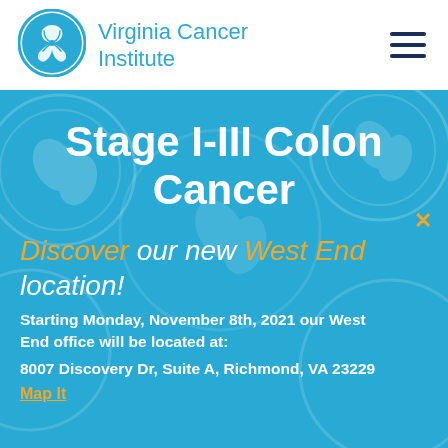[Figure (logo): Virginia Cancer Institute circular logo in blue with stylized ribbon/figure design]
Virginia Cancer Institute
Stage I-III Colon Cancer
Discover our new West End location! Starting Monday, November 8th, 2021 our West End office will be located at: 8007 Discovery Dr, Suite A, Richmond, VA 23229 Map It